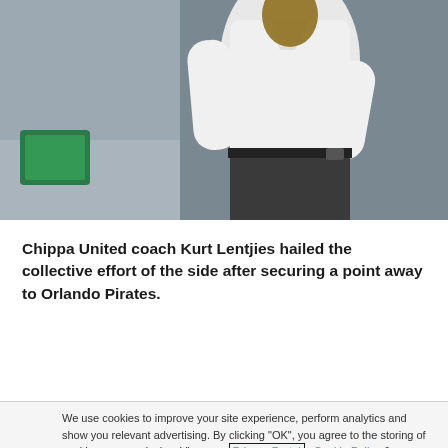[Figure (photo): A man wearing a white long-sleeve shirt and dark pants standing outdoors near stadium seating and a green exit sign in the background.]
Chippa United coach Kurt Lentjies hailed the collective effort of the side after securing a point away to Orlando Pirates.
We use cookies to improve your site experience, perform analytics and show you relevant advertising. By clicking "OK", you agree to the storing of cookies on your device. View our Privacy Portal  Cookie Policy &  Cookie FAQs